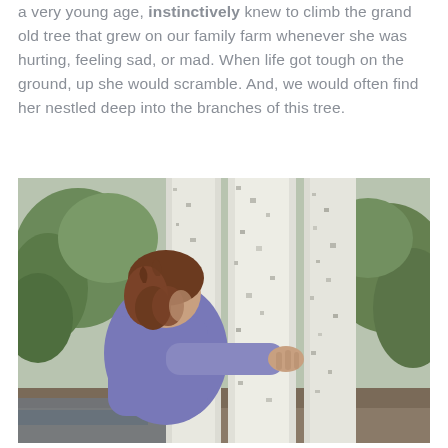a very young age, instinctively knew to climb the grand old tree that grew on our family farm whenever she was hurting, feeling sad, or mad. When life got tough on the ground, up she would scramble. And, we would often find her nestled deep into the branches of this tree.
[Figure (photo): A person with curly brown hair wearing a purple long-sleeve shirt hugging/embracing a large white-barked tree trunk (resembling a birch or eucalyptus) with green foliage visible in the background.]